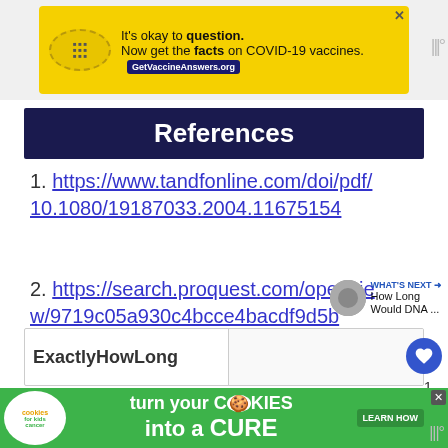[Figure (screenshot): Yellow COVID-19 vaccine ad banner with stamp icon, text 'It's okay to question. Now get the facts on COVID-19 vaccines. GetVaccineAnswers.org']
References
https://www.tandfonline.com/doi/pdf/10.1080/19187033.2004.11675154
https://search.proquest.com/openview/9719c05a930c4bcce4bacdf9d5b5587/1?pq-origsite=gscholar&cbl=44755
[Figure (screenshot): Green 'cookies for kids cancer - turn your cookies into a CURE LEARN HOW' advertisement banner at bottom]
ExactlyHowLong